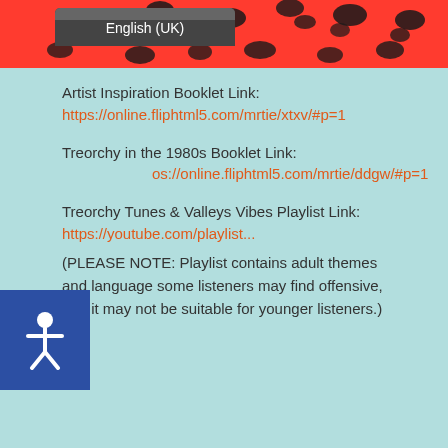[Figure (photo): Red leopard print fabric background with English (UK) language selector badge overlaid on the left side]
Artist Inspiration Booklet Link:
https://online.fliphtml5.com/mrtie/xtxv/#p=1
Treorchy in the 1980s Booklet Link:
https://online.fliphtml5.com/mrtie/ddgw/#p=1
Treorchy Tunes & Valleys Vibes Playlist Link:
https://youtube.com/playlist...
(PLEASE NOTE: Playlist contains adult themes and language some listeners may find offensive, and it may not be suitable for younger listeners.)